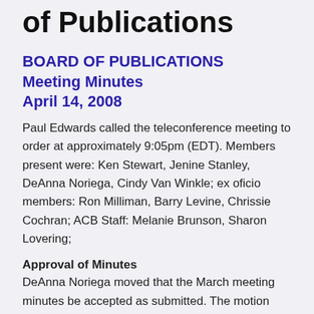of Publications
BOARD OF PUBLICATIONS
Meeting Minutes
April 14, 2008
Paul Edwards called the teleconference meeting to order at approximately 9:05pm (EDT). Members present were: Ken Stewart, Jenine Stanley, DeAnna Noriega, Cindy Van Winkle; ex oficio members: Ron Milliman, Barry Levine, Chrissie Cochran; ACB Staff: Melanie Brunson, Sharon Lovering;
Approval of Minutes
DeAnna Noriega moved that the March meeting minutes be accepted as submitted. The motion was seconded and carried.
ACB Radio Report